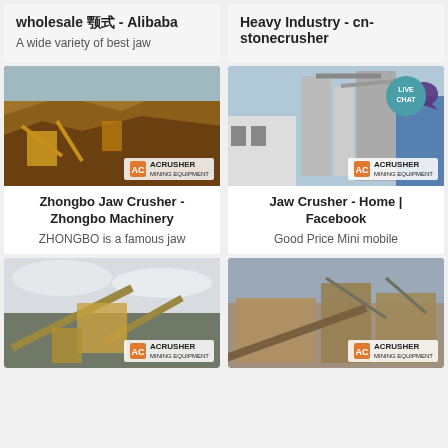wholesale 颚式 - Alibaba
A wide variety of best jaw
Heavy Industry - cn-stonecrusher
[Figure (photo): Outdoor mining/quarry site with yellow jaw crusher equipment and workers on a hillside with red earth, ACRUSHER Mining Equipment logo visible]
[Figure (photo): Industrial plant with large vertical cylindrical machinery, pipes and structures, blue metal siding, ACRUSHER Mining Equipment logo visible, LIVE CHAT badge overlay]
Zhongbo Jaw Crusher - Zhongbo Machinery
ZHONGBO is a famous jaw
Jaw Crusher - Home | Facebook
Good Price Mini mobile
[Figure (photo): Outdoor stone crushing plant with conveyor belts and crusher machinery against cloudy sky, ACRUSHER logo visible]
[Figure (photo): Outdoor jaw crusher station with large machinery and conveyor structures in a yard, ACRUSHER logo visible]